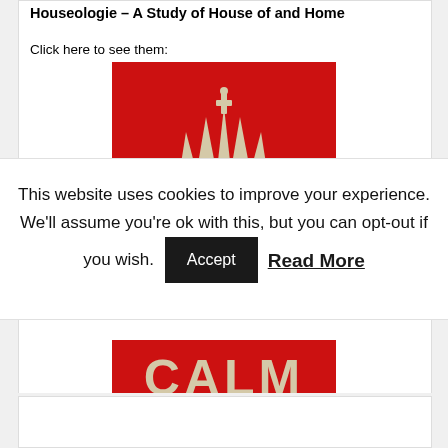Houseologie – A Study of House of and Home
Click here to see them:
[Figure (illustration): Keep Calm poster — red background with gold crown, text 'KEEP' visible at top and partial text at bottom]
This website uses cookies to improve your experience. We'll assume you're ok with this, but you can opt-out if you wish. Accept  Read More